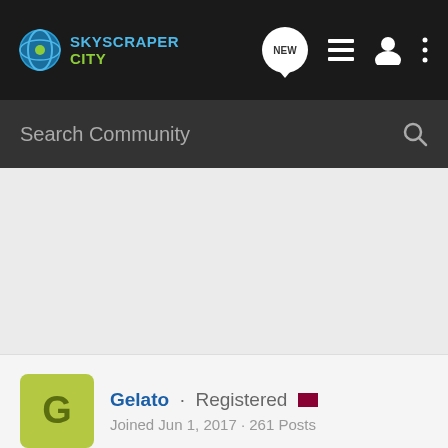SkyscraperCity
Search Community
Gelato · Registered
Joined Jun 1, 2017 · 261 Posts
#10 · Aug 28, 2020